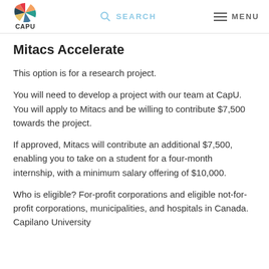CAPU | SEARCH | MENU
Mitacs Accelerate
This option is for a research project.
You will need to develop a project with our team at CapU. You will apply to Mitacs and be willing to contribute $7,500 towards the project.
If approved, Mitacs will contribute an additional $7,500, enabling you to take on a student for a four-month internship, with a minimum salary offering of $10,000.
Who is eligible? For-profit corporations and eligible not-for-profit corporations, municipalities, and hospitals in Canada. Capilano University